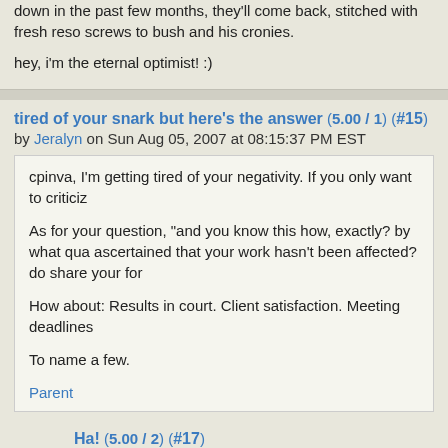down in the past few months, they'll come back, stitched with fresh reso screws to bush and his cronies.
hey, i'm the eternal optimist! :)
tired of your snark but here's the answer (5.00 / 1) (#15) by Jeralyn on Sun Aug 05, 2007 at 08:15:37 PM EST
cpinva, I'm getting tired of your negativity. If you only want to criticiz
As for your question, "and you know this how, exactly? by what qua ascertained that your work hasn't been affected? do share your for
How about: Results in court. Client satisfaction. Meeting deadlines
To name a few.
Parent
Ha! (5.00 / 2) (#17) by Big Tent Democrat on Sun Aug 05, 2007 at 09:43:00 PM EST
So now we know. There is not an unending reservoir of good
As the ornery one, I say HURRAH!
Parent